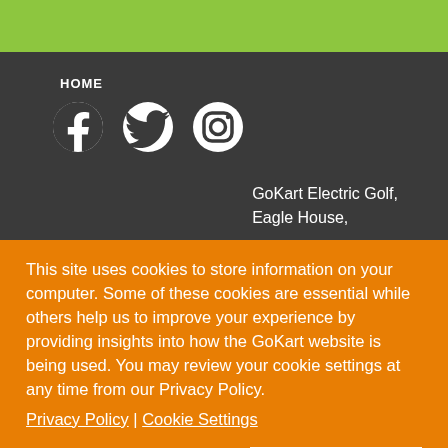HOME
[Figure (logo): Social media icons: Facebook, Twitter, Instagram]
GoKart Electric Golf,
Eagle House,
This site uses cookies to store information on your computer. Some of these cookies are essential while others help us to improve your experience by providing insights into how the GoKart website is being used. You may review your cookie settings at any time from our Privacy Policy.
Privacy Policy | Cookie Settings
Dismiss  Allow Cookies